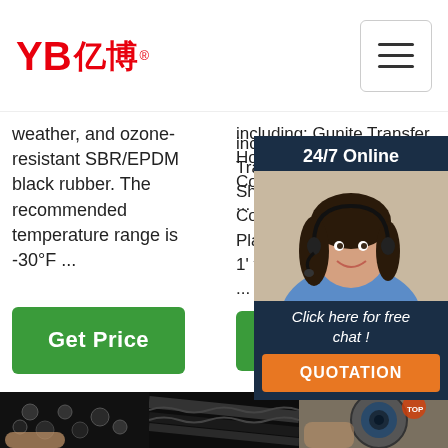[Figure (logo): YB亿博 logo in red with registered trademark symbol]
[Figure (other): Hamburger menu button (three horizontal lines) in top right corner]
weather, and ozone-resistant SBR/EPDM black rubber. The recommended temperature range is -30°F ...
including: Gunite Transfer Hoses, Shotcrete Concrete Placement 1' th ...
[Figure (other): Green 'Get Price' button]
[Figure (other): Green 'G' button (partially visible)]
[Figure (infographic): 24/7 Online chat widget with woman wearing headset, 'Click here for free chat!' text, and orange QUOTATION button]
[Figure (photo): Close-up photo of black rubber hoses being handled]
[Figure (photo): Close-up photo of black hose texture]
[Figure (photo): Close-up photo of hose end cross-section with orange TOP logo]